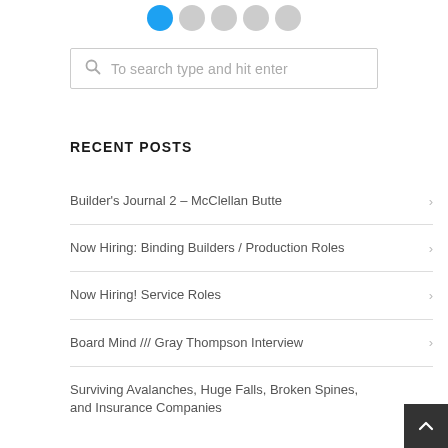[Figure (other): Row of social media icon circles at top, one blue (Twitter/X), rest gray]
To search type and hit enter
RECENT POSTS
Builder's Journal 2 – McClellan Butte
Now Hiring: Binding Builders / Production Roles
Now Hiring! Service Roles
Board Mind /// Gray Thompson Interview
Surviving Avalanches, Huge Falls, Broken Spines, and Insurance Companies